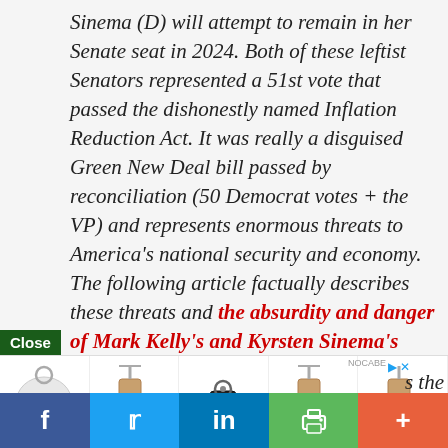Sinema (D) will attempt to remain in her Senate seat in 2024. Both of these leftist Senators represented a 51st vote that passed the dishonestly named Inflation Reduction Act. It was really a disguised Green New Deal bill passed by reconciliation (50 Democrat votes + the VP) and represents enormous threats to America's national security and economy. The following article factually describes these threats and the absurdity and danger of Mark Kelly's and Kyrsten Sinema's votes. They claim to be voting in [the] s the
[Figure (screenshot): Advertisement strip showing bag/accessory product images with a Close button overlay]
[Figure (screenshot): Social media sharing bar with Facebook, Twitter, LinkedIn, print, and more buttons]